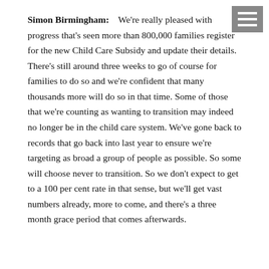Simon Birmingham:    We're really pleased with progress that's seen more than 800,000 families register for the new Child Care Subsidy and update their details. There's still around three weeks to go of course for families to do so and we're confident that many thousands more will do so in that time. Some of those that we're counting as wanting to transition may indeed no longer be in the child care system. We've gone back to records that go back into last year to ensure we're targeting as broad a group of people as possible. So some will choose never to transition. So we don't expect to get to a 100 per cent rate in that sense, but we'll get vast numbers already, more to come, and there's a three month grace period that comes afterwards.